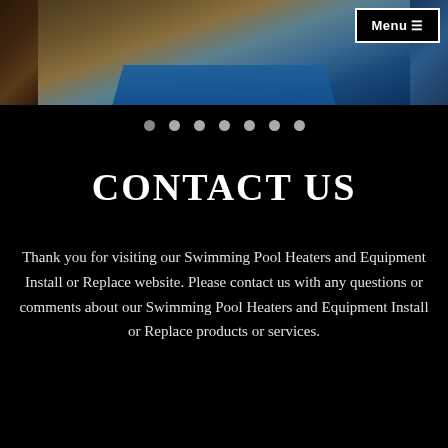[Figure (photo): Swimming pool with stone surround, showing blue water and tiled deck, partial views of other pool images on either side]
[Figure (infographic): Seven navigation dots for a carousel/slideshow, first dot slightly darker indicating current slide]
CONTACT US
Thank you for visiting our Swimming Pool Heaters and Equipment Install or Replace website. Please contact us with any questions or comments about our Swimming Pool Heaters and Equipment Install or Replace products or services.